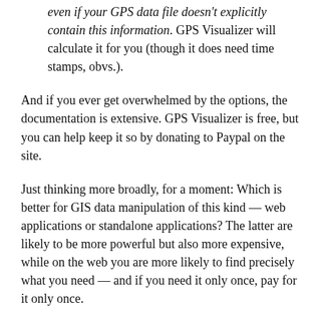even if your GPS data file doesn't explicitly contain this information. GPS Visualizer will calculate it for you (though it does need time stamps, obvs.).
And if you ever get overwhelmed by the options, the documentation is extensive. GPS Visualizer is free, but you can help keep it so by donating to Paypal on the site.
Just thinking more broadly, for a moment: Which is better for GIS data manipulation of this kind — web applications or standalone applications? The latter are likely to be more powerful but also more expensive, while on the web you are more likely to find precisely what you need — and if you need it only once, pay for it only once.
And now that GIS browsers are free, does it really matter where the calculations take place? It would if the dataset becomes too large to download quickly, and I can see problems with scaling up resources (Adam's server must be busy these